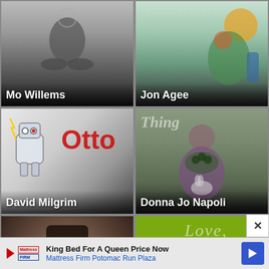[Figure (photo): Photo of Mo Willems seated cross-legged with a hand-drawn sketch visible in background]
Mo Willems
[Figure (illustration): Illustrated artwork by Jon Agee showing a colorful character]
Jon Agee
[Figure (illustration): Cartoon robot character 'Otto' illustration by David Milgrim]
David Milgrim
[Figure (photo): Photo of Donna Jo Napoli holding a rabbit]
Donna Jo Napoli
[Figure (photo): Photo of Terry Pratchett wearing a wide-brimmed hat]
Terry Pratchett
[Figure (illustration): Green background with text 'Love,' and a yellow star, and a scroll-up button overlay]
Jerry Spinelli
King Bed For A Queen Price Now
Mattress Firm Potomac Run Plaza